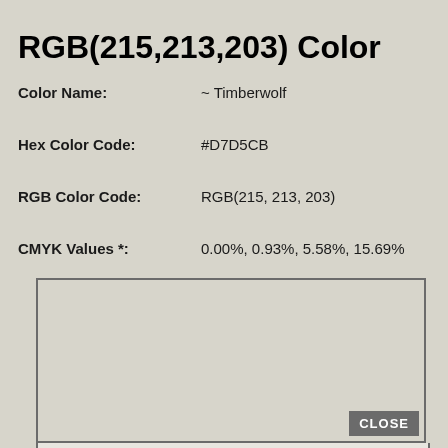RGB(215,213,203) Color
Color Name: ~ Timberwolf
Hex Color Code: #D7D5CB
RGB Color Code: RGB(215, 213, 203)
CMYK Values *: 0.00%, 0.93%, 5.58%, 15.69%
[Figure (other): Color swatch box showing the RGB(215,213,203) / Timberwolf color with a CLOSE button in the bottom right corner]